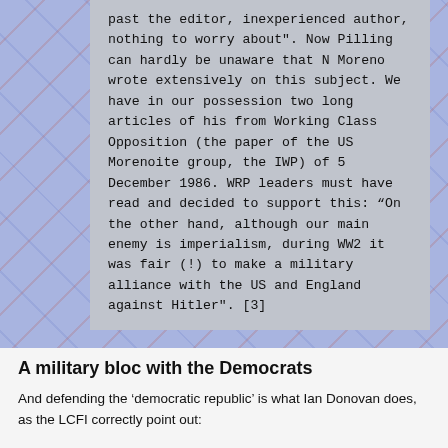past the editor, inexperienced author, nothing to worry about". Now Pilling can hardly be unaware that N Moreno wrote extensively on this subject. We have in our possession two long articles of his from Working Class Opposition (the paper of the US Morenoite group, the IWP) of 5 December 1986. WRP leaders must have read and decided to support this: “On the other hand, although our main enemy is imperialism, during WW2 it was fair (!) to make a military alliance with the US and England against Hitler". [3]
A military bloc with the Democrats
And defending the ‘democratic republic’ is what Ian Donovan does, as the LCFI correctly point out: